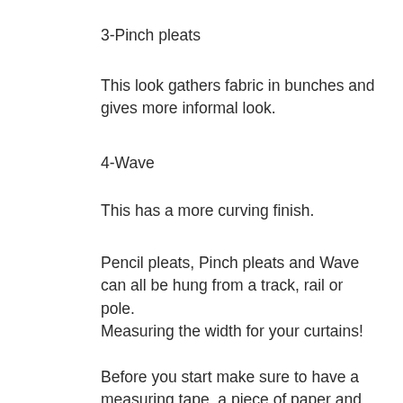3-Pinch pleats
This look gathers fabric in bunches and gives more informal look.
4-Wave
This has a more curving finish.
Pencil pleats, Pinch pleats and Wave can all be hung from a track, rail or pole.
Measuring the width for your curtains!
Before you start make sure to have a measuring tape, a piece of paper and pencil so you can write all of yours measurements down as you go along. This is important!